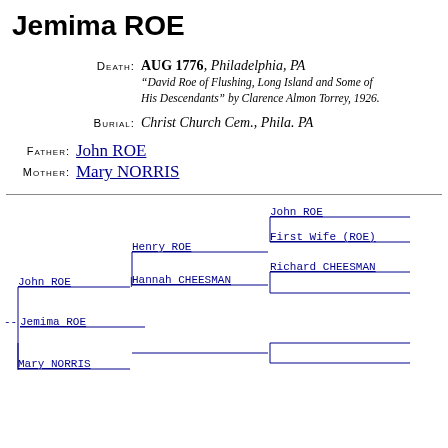Jemima ROE
DEATH: AUG 1776, Philadelphia, PA
"David Roe of Flushing, Long Island and Some of His Descendants" by Clarence Almon Torrey, 1926.
BURIAL: Christ Church Cem., Phila. PA
FATHER: John ROE
MOTHER: Mary NORRIS
[Figure (other): Genealogical tree diagram showing ancestors of Jemima ROE including John ROE, Henry ROE, Hannah CHEESMAN, John ROE (grandfather), First Wife (ROE), Richard CHEESMAN, and Mary NORRIS]